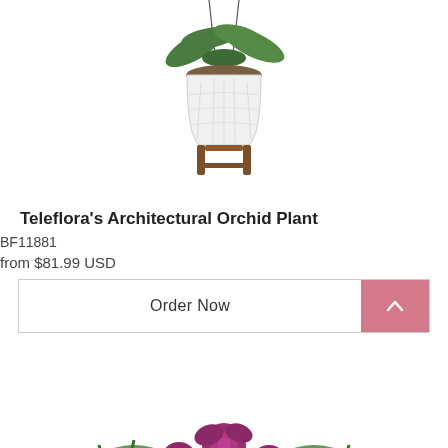[Figure (photo): Photo of an orchid plant in a white geometric textured pot on a wooden stand, hanging strings visible above]
Teleflora's Architectural Orchid Plant
BF11881
from $81.99 USD
Order Now
[Figure (photo): Photo of a pink and purple floral bouquet arrangement with roses, carnations, and mixed flowers]